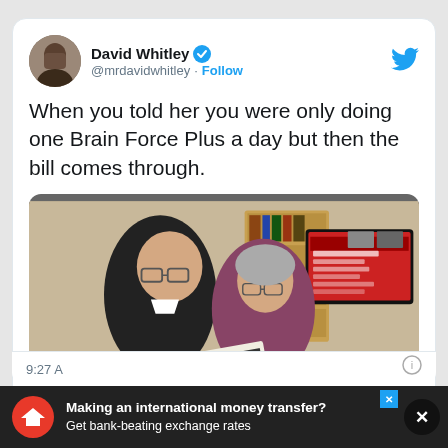[Figure (screenshot): Tweet by David Whitley (@mrdavidwhitley) with text: 'When you told her you were only doing one Brain Force Plus a day but then the bill comes through.' with a photo of an elderly couple looking at a bill next to a TV showing a red menu screen.]
David Whitley @mrdavidwhitley · Follow
When you told her you were only doing one Brain Force Plus a day but then the bill comes through.
[Figure (photo): Elderly couple, man in black jacket and woman in floral top, holding a document/bill, with a large flat-screen TV on the wall showing a red on-screen menu.]
9:27 A
Making an international money transfer? Get bank-beating exchange rates